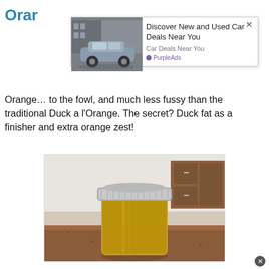Oran...
[Figure (screenshot): Car advertisement overlay showing a Toyota sedan with text 'Discover New and Used Car Deals Near You' and 'Car Deals Near You', labeled 'PurpleAds']
Orange... to the fowl, and much less fussy than the traditional Duck a l'Orange. The secret? Duck fat as a finisher and extra orange zest!
[Figure (photo): A mason jar filled with orange-colored sauce or preserve, sitting on a granite countertop with kitchen cabinets visible in the background.]